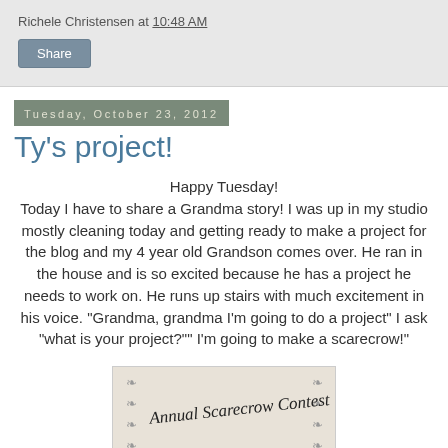Richele Christensen at 10:48 AM
Share
Tuesday, October 23, 2012
Ty's project!
Happy Tuesday!
Today I have to share a Grandma story! I was up in my studio mostly cleaning today and getting ready to make a project for the blog and my 4 year old Grandson comes over. He ran in the house and is so excited because he has a project he needs to work on. He runs up stairs with much excitement in his voice. "Grandma, grandma I'm going to do a project" I ask "what is your project?"" I'm going to make a scarecrow!"
[Figure (photo): A photo of a document/flyer for an 'Annual Scarecrow Contest' with leaf decorations on the sides and partial text at the bottom.]